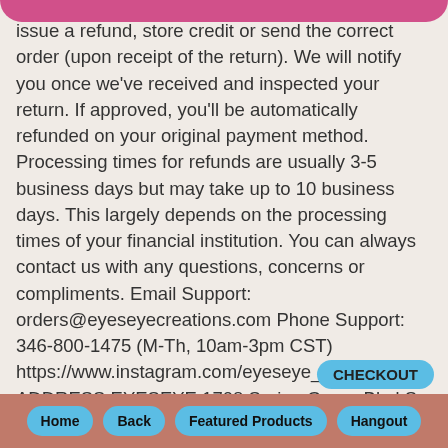issue a refund, store credit or send the correct order (upon receipt of the return). We will notify you once we've received and inspected your return. If approved, you'll be automatically refunded on your original payment method. Processing times for refunds are usually 3-5 business days but may take up to 10 business days. This largely depends on the processing times of your financial institution. You can always contact us with any questions, concerns or compliments. Email Support: orders@eyeseyecreations.com Phone Support: 346-800-1475 (M-Th, 10am-3pm CST) https://www.instagram.com/eyeseye_/ RETURN ADDRESS EYESEYE 1708 Spring Green Blvd S PMB 1045 Katy, TX 77494 We truly appreciate you trusting us & choosing to shop here at EYESEYE.
Home  Back  Featured Products  Hangout